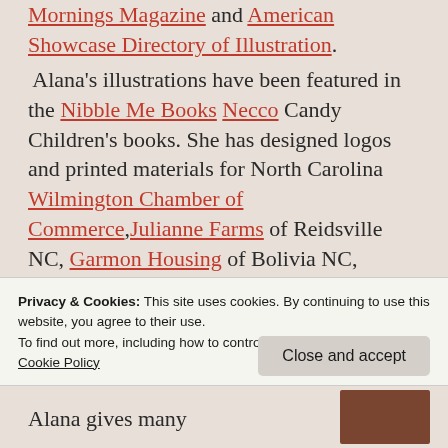Mornings Magazine and American Showcase Directory of Illustration. Alana's illustrations have been featured in the Nibble Me Books Necco Candy Children's books. She has designed logos and printed materials for North Carolina Wilmington Chamber of Commerce, Julianne Farms of Reidsville NC, Garmon Housing of Bolivia NC, Vintage Limousine
Privacy & Cookies: This site uses cookies. By continuing to use this website, you agree to their use. To find out more, including how to control cookies, see here: Cookie Policy
Close and accept
Alana gives many